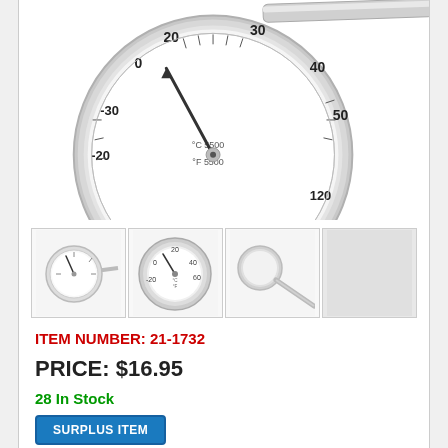[Figure (photo): Large bimetallic dial thermometer with stainless steel case and stem, showing dual Celsius and Fahrenheit scales. Scale ranges from -30 to 120°C.]
[Figure (photo): Thumbnail 1: Small view of same thermometer from front angle showing full dial and stem.]
[Figure (photo): Thumbnail 2: Close-up front view of thermometer dial face showing scale markings.]
[Figure (photo): Thumbnail 3: Side/edge view of thermometer showing the probe stem at an angle.]
ITEM NUMBER: 21-1732
PRICE: $16.95
28 In Stock
SURPLUS ITEM